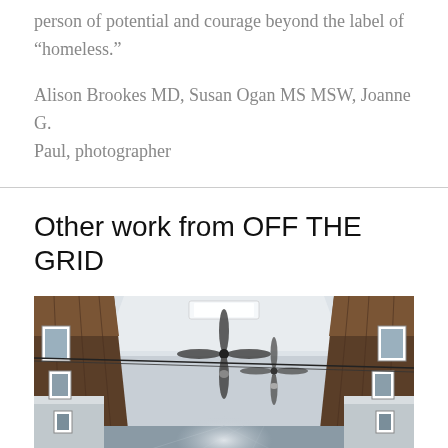person of potential and courage beyond the label of “homeless.”
Alison Brookes MD, Susan Ogan MS MSW, Joanne G. Paul, photographer
Other work from OFF THE GRID
[Figure (photo): Interior of what appears to be a diner or train car hallway, with wooden paneling, ceiling fans, fluorescent lights, and framed pictures along the walls, photographed in perspective down the length of the space.]